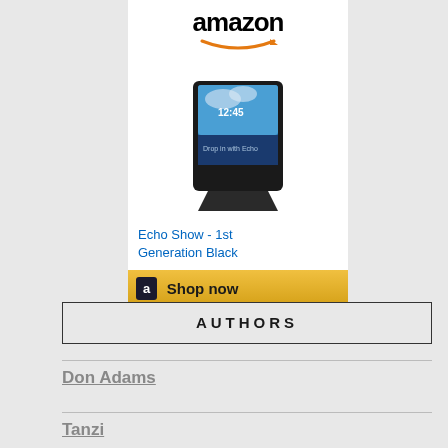[Figure (advertisement): Amazon advertisement showing Echo Show 1st Generation Black device with Amazon logo, product image, product title in blue text, and a Shop now button with golden background.]
Echo Show - 1st Generation Black
AUTHORS
Don Adams
Tanzi